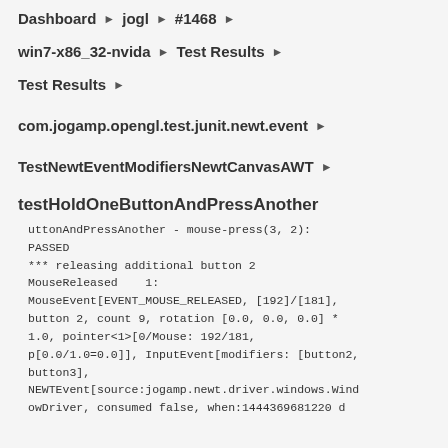Dashboard ▶ jogl ▶ #1468 ▶
win7-x86_32-nvida ▶ Test Results ▶
Test Results ▶
com.jogamp.opengl.test.junit.newt.event ▶
TestNewtEventModifiersNewtCanvasAWT ▶
testHoldOneButtonAndPressAnother
uttonAndPressAnother - mouse-press(3, 2): PASSED
*** releasing additional button 2
MouseReleased    1:
MouseEvent[EVENT_MOUSE_RELEASED, [192]/[181], button 2, count 9, rotation [0.0, 0.0, 0.0] * 1.0, pointer<1>[0/Mouse: 192/181, p[0.0/1.0=0.0]], InputEvent[modifiers: [button2, button3],
NEWTEvent[source:jogamp.newt.driver.windows.WindowDriver, consumed false, when:1444369681220 d